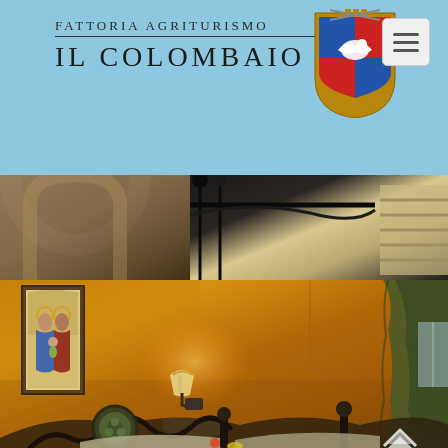Fattoria Agriturismo Il Colombaio
[Figure (photo): Top photo strip showing two sections: left shows stone/rustic interior with round arch, right shows wrought iron bed detail with striped mattress]
[Figure (photo): Main room photo showing a rustic Italian agriturismo bedroom with warm golden/orange plastered walls, a framed religious painting, ornate wrought iron bed frame with decorative medallion, wall sconce lamp, green curtains, and bed with pillows and floral coverlet]